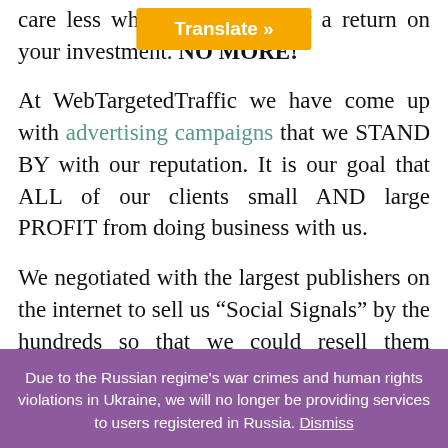care less whether you get any sales or a return on your investment. NO MORE!
At WebTargetedTraffic we have come up with advertising campaigns that we STAND BY with our reputation. It is our goal that ALL of our clients small AND large PROFIT from doing business with us.
We negotiated with the largest publishers on the internet to sell us “Social Signals” by the hundreds so that we could resell them individually to our clients. That way the publishers get one large lump of money from us and our clients get to advertise on
Due to the Russian regime's war crimes and human rights violations in Ukraine, we will no longer be providing services to users registered in Russia. Dismiss